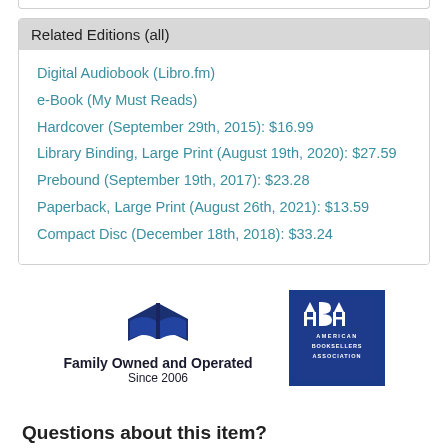Related Editions (all)
Digital Audiobook (Libro.fm)
e-Book (My Must Reads)
Hardcover (September 29th, 2015): $16.99
Library Binding, Large Print (August 19th, 2020): $27.59
Prebound (September 19th, 2017): $23.28
Paperback, Large Print (August 26th, 2021): $13.59
Compact Disc (December 18th, 2018): $33.24
[Figure (logo): Family Owned and Operated Since 2006 logo with open book icon]
[Figure (logo): ABA American Booksellers Association logo]
Questions about this item?